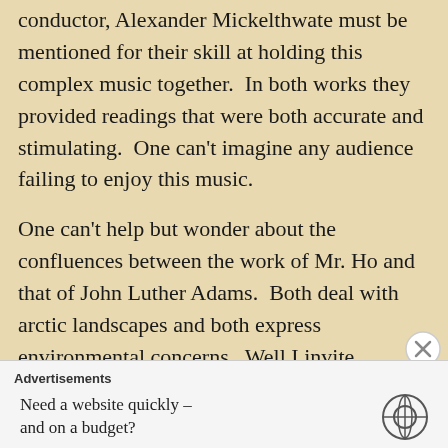conductor, Alexander Mickelthwate must be mentioned for their skill at holding this complex music together.  In both works they provided readings that were both accurate and stimulating.  One can't imagine any audience failing to enjoy this music.

One can't help but wonder about the confluences between the work of Mr. Ho and that of John Luther Adams.  Both deal with arctic landscapes and both express environmental concerns.  Well I invite listeners to do their part in eliminating the weird musical apartheid that appears to exist by buying this album.  It is excellent.
Advertisements
Need a website quickly – and on a budget?